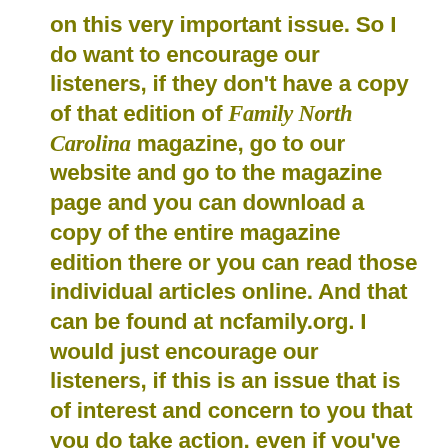on this very important issue. So I do want to encourage our listeners, if they don't have a copy of that edition of Family North Carolina magazine, go to our website and go to the magazine page and you can download a copy of the entire magazine edition there or you can read those individual articles online. And that can be found at ncfamily.org. I would just encourage our listeners, if this is an issue that is of interest and concern to you that you do take action, even if you've contacted your legislators before. Now is the time to do it again as they come back into session and as they are revisiting this issue and hearing about it discussed within the halls of the General Assembly. And especially the new members of the Legislature who have not had